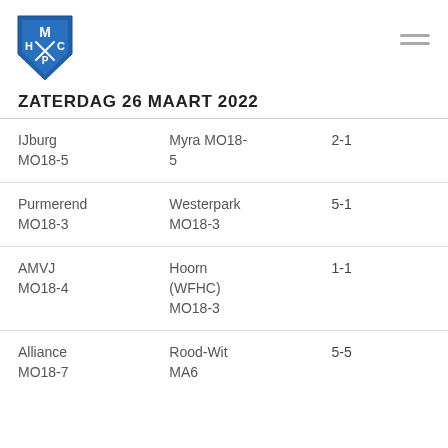HCP Hockey Club logo and navigation
ZATERDAG 26 MAART 2022
| Home | Away | Score |
| --- | --- | --- |
| IJburg MO18-5 | Myra MO18-5 | 2-1 |
| Purmerend MO18-3 | Westerpark MO18-3 | 5-1 |
| AMVJ MO18-4 | Hoorn (WFHC) MO18-3 | 1-1 |
| Alliance MO18-7 | Rood-Wit MA6 | 5-5 |